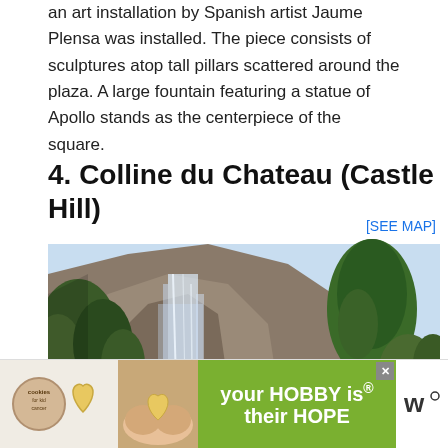an art installation by Spanish artist Jaume Plensa was installed. The piece consists of sculptures atop tall pillars scattered around the plaza. A large fountain featuring a statue of Apollo stands as the centerpiece of the square.
4. Colline du Chateau (Castle Hill)
[SEE MAP]
[Figure (photo): Photo of Colline du Chateau (Castle Hill) showing a large rocky cliff face with a waterfall cascading down it, surrounded by green trees including a distinctive pine tree on the right side, against a bright sky.]
[Figure (infographic): Advertisement banner: 'cookies for kid cancer' logo on left with a heart-shaped cookie image, green background with text 'your HOBBY is their HOPE', close button (x), and a logo on the right.]